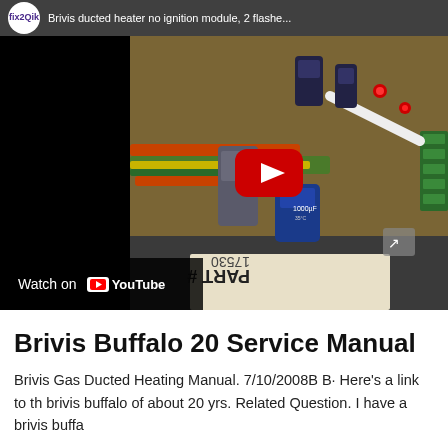[Figure (screenshot): YouTube video thumbnail showing a Brivis ducted heater ignition module circuit board with electronic components, capacitors, and wiring. Channel icon shows 'fix2Qik'. Video title reads 'Brivis ducted heater no ignition module, 2 flashes'. A red YouTube play button is overlaid in the center. A 'Watch on YouTube' button appears bottom-left.]
Brivis Buffalo 20 Service Manual
Brivis Gas Ducted Heating Manual. 7/10/2008B B· Here's a link to the brivis buffalo of about 20 yrs. Related Question. I have a brivis buffa